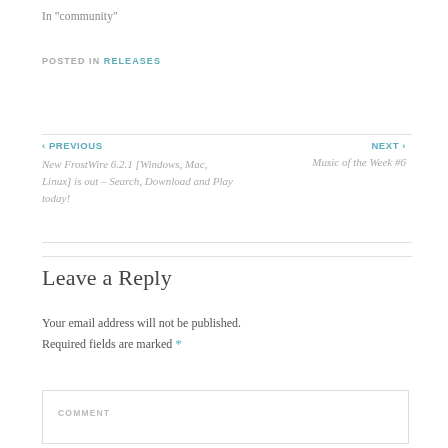In "community"
POSTED IN RELEASES
‹ PREVIOUS
New FrostWire 6.2.1 [Windows, Mac, Linux] is out – Search, Download and Play today!
NEXT ›
Music of the Week #6
Leave a Reply
Your email address will not be published. Required fields are marked *
COMMENT